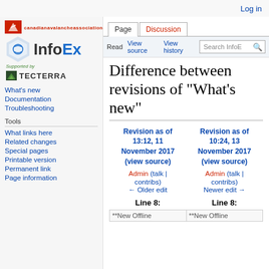Log in
[Figure (logo): Canadian Avalanche Association logo with red box and bird icon, and InfoEx wordmark with hexagon icon, supported by TECTERRA]
What's new | Documentation | Troubleshooting
Tools: What links here | Related changes | Special pages | Printable version | Permanent link | Page information
Difference between revisions of "What's new"
| Revision as of 13:12, 11 November 2017 (view source) | Revision as of 10:24, 13 November 2017 (view source) |
| --- | --- |
| Admin (talk | contribs) | Admin (talk | contribs) |
| ← Older edit | Newer edit → |
| Line 8: | Line 8: |
| **New Offline | **New Offline |